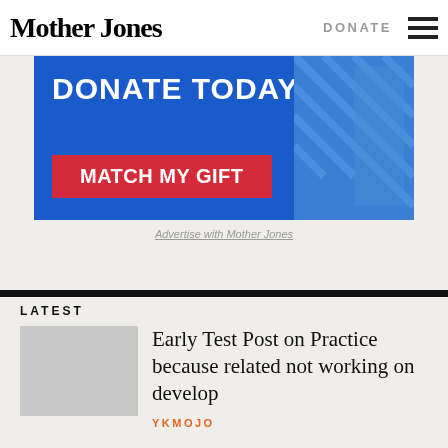Mother Jones | DONATE ☰
[Figure (other): Blue donation banner ad with text 'DONATE TODAY.' and red 'MATCH MY GIFT' button, with diagonal hatching pattern on right side]
Advertise with Mother Jones
LATEST
Early Test Post on Practice because related not working on develop
YKMOJO